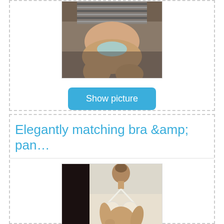[Figure (photo): Photo of a person on a couch, partially obscured]
Show picture
Elegantly matching bra &amp; pan…
[Figure (photo): Photo of a person in lingerie against dark background]